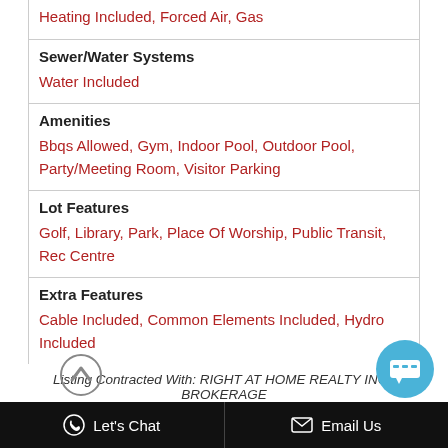| Heating Included, Forced Air, Gas |
| Sewer/Water Systems | Water Included |
| Amenities | Bbqs Allowed, Gym, Indoor Pool, Outdoor Pool, Party/Meeting Room, Visitor Parking |
| Lot Features | Golf, Library, Park, Place Of Worship, Public Transit, Rec Centre |
| Extra Features | Cable Included, Common Elements Included, Hydro Included |
Listing Contracted With: RIGHT AT HOME REALTY INC., BROKERAGE
Description